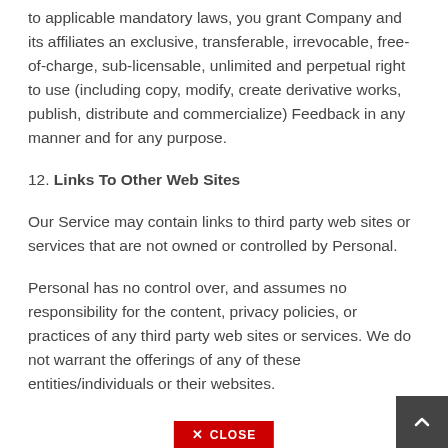to applicable mandatory laws, you grant Company and its affiliates an exclusive, transferable, irrevocable, free-of-charge, sub-licensable, unlimited and perpetual right to use (including copy, modify, create derivative works, publish, distribute and commercialize) Feedback in any manner and for any purpose.
12. Links To Other Web Sites
Our Service may contain links to third party web sites or services that are not owned or controlled by Personal.
Personal has no control over, and assumes no responsibility for the content, privacy policies, or practices of any third party web sites or services. We do not warrant the offerings of any of these entities/individuals or their websites.